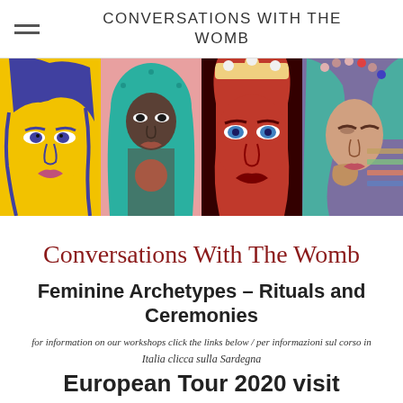CONVERSATIONS WITH THE WOMB
[Figure (illustration): Four artistic portraits of women in colorful pop-art style. Left panel: woman with yellow background and blue/purple line art. Second panel: woman with teal headscarf and intricate patterns on pink background. Third panel: red toned face of a woman with ornate headpiece. Fourth panel: woman with blue-green hair and purple/blue color scheme.]
Conversations With The Womb
Feminine Archetypes – Rituals and Ceremonies
for information on our workshops click the links below / per informazioni sul corso in
Italia clicca sulla Sardegna
European Tour 2020 visit